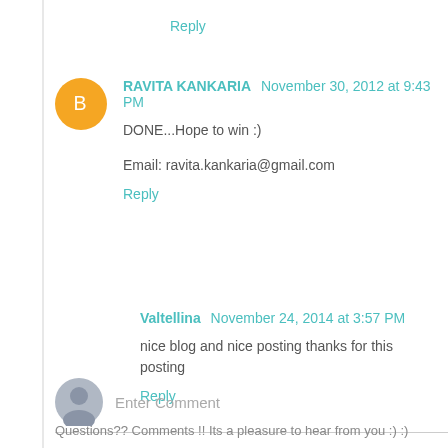Reply
RAVITA KANKARIA November 30, 2012 at 9:43 PM
DONE...Hope to win :)
Email: ravita.kankaria@gmail.com
Reply
Valtellina November 24, 2014 at 3:57 PM
nice blog and nice posting thanks for this posting
Reply
Enter Comment
Questions?? Comments !! Its a pleasure to hear from you :) :)